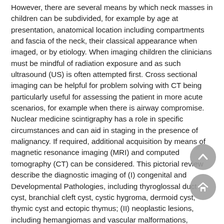However, there are several means by which neck masses in children can be subdivided, for example by age at presentation, anatomical location including compartments and fascia of the neck, their classical appearance when imaged, or by etiology. When imaging children the clinicians must be mindful of radiation exposure and as such ultrasound (US) is often attempted first. Cross sectional imaging can be helpful for problem solving with CT being particularly useful for assessing the patient in more acute scenarios, for example when there is airway compromise. Nuclear medicine scintigraphy has a role in specific circumstances and can aid in staging in the presence of malignancy. If required, additional acquisition by means of magnetic resonance imaging (MRI) and computed tomography (CT) can be considered. This pictorial review describe the diagnostic imaging of (I) congenital and Developmental Pathologies, including thyroglossal duct cyst, branchial cleft cyst, cystic hygroma, dermoid cyst, thymic cyst and ectopic thymus; (II) neoplastic lesions, including hemangiomas and vascular malformations, pilomatrixoma, neurofibroma, neuroblastoma